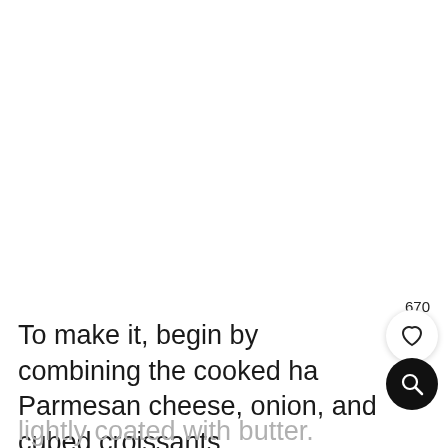670
To make it, begin by combining the cooked ha[m], Parmesan cheese, onion, and cubed croissants and arranging in a 9×13 baking dish that has been sprayed with nonstick cooking spray or
lightly coated with butter.